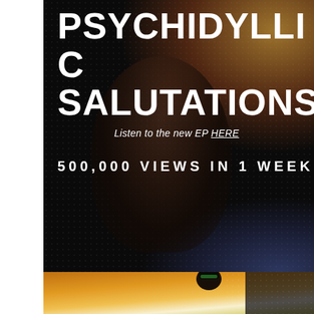PSYCHIDYLLIC SALUTATIONS
Listen to the new EP HERE
500,000 VIEWS IN 1 WEEK
[Figure (photo): Bottom strip showing a performer in colorful background with orange/yellow/white stage lighting, dark right section with dotted LED screen texture throughout the background]